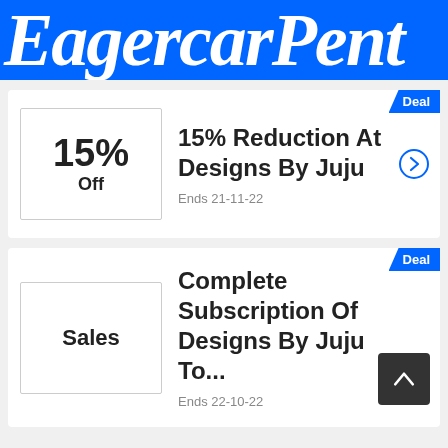EagercarPent
Deal
15% Reduction At Designs By Juju
Ends 21-11-22
Deal
Complete Subscription Of Designs By Juju To...
Ends 22-10-22